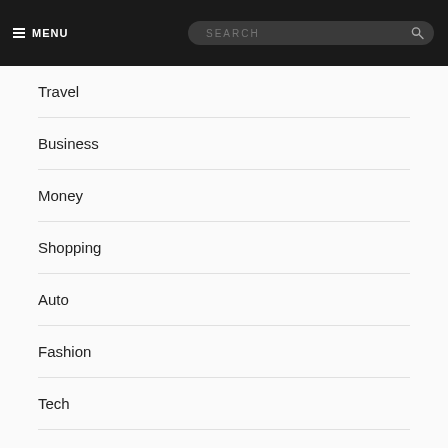☰ MENU | SEARCH
Travel
Business
Money
Shopping
Auto
Fashion
Tech
Love
Health & Fitness